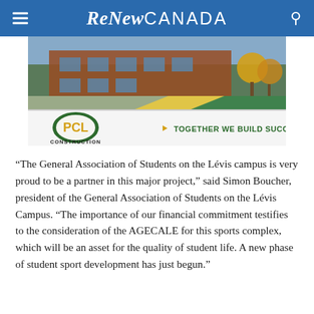ReNew CANADA
[Figure (illustration): PCL Construction advertisement showing a modern building exterior with yellow autumn trees, featuring PCL logo and tagline 'TOGETHER WE BUILD SUCCESS']
“The General Association of Students on the Lévis campus is very proud to be a partner in this major project,” said Simon Boucher, president of the General Association of Students on the Lévis Campus. “The importance of our financial commitment testifies to the consideration of the AGECALE for this sports complex, which will be an asset for the quality of student life. A new phase of student sport development has just begun.”